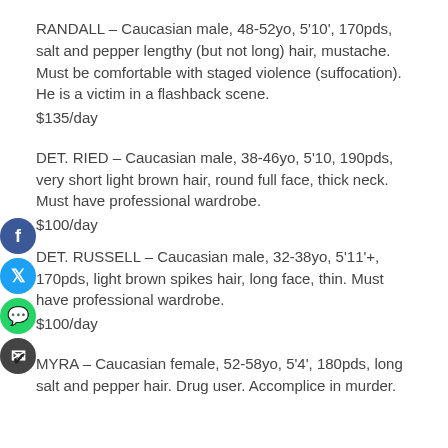RANDALL – Caucasian male, 48-52yo, 5'10', 170pds, salt and pepper lengthy (but not long) hair, mustache. Must be comfortable with staged violence (suffocation). He is a victim in a flashback scene.
$135/day
DET. RIED – Caucasian male, 38-46yo, 5'10, 190pds, very short light brown hair, round full face, thick neck. Must have professional wardrobe.
$100/day
DET. RUSSELL – Caucasian male, 32-38yo, 5'11'+, 170pds, light brown spikes hair, long face, thin. Must have professional wardrobe.
$100/day
MYRA – Caucasian female, 52-58yo, 5'4', 180pds, long salt and pepper hair. Drug user. Accomplice in murder.